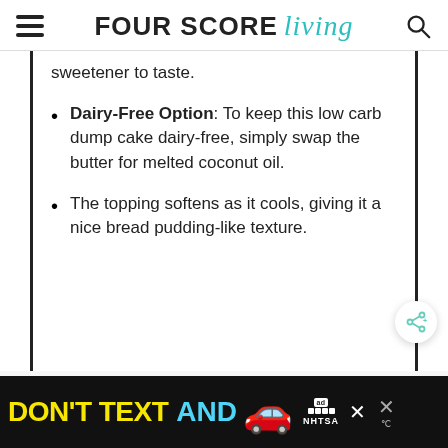FOUR SCORE living
sweetener to taste.
Dairy-Free Option: To keep this low carb dump cake dairy-free, simply swap the butter for melted coconut oil.
The topping softens as it cools, giving it a nice bread pudding-like texture.
WHAT'S NEXT → Easy Marry Me Chicken